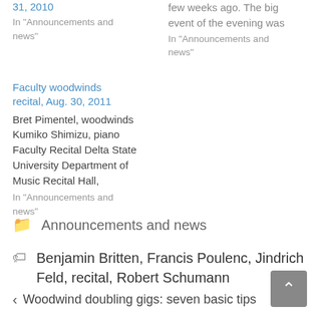31, 2010
In "Announcements and news"
few weeks ago. The big event of the evening was
In "Announcements and news"
Faculty woodwinds recital, Aug. 30, 2011
Bret Pimentel, woodwinds Kumiko Shimizu, piano Faculty Recital Delta State University Department of Music Recital Hall,
In "Announcements and news"
Announcements and news
Benjamin Britten, Francis Poulenc, Jindrich Feld, recital, Robert Schumann
Woodwind doubling gigs: seven basic tips